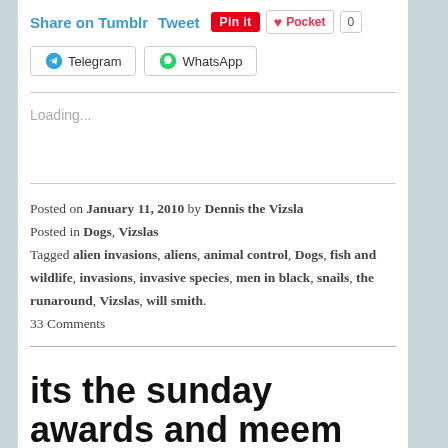Share on Tumblr   Tweet   Pin it   Pocket   0
Telegram   WhatsApp
Loading...
Posted on January 11, 2010 by Dennis the Vizsla
Posted in Dogs, Vizslas
Tagged alien invasions, aliens, animal control, Dogs, fish and wildlife, invasions, invasive species, men in black, snails, the runaround, Vizslas, will smith.
33 Comments
its the sunday awards and meem show!!!